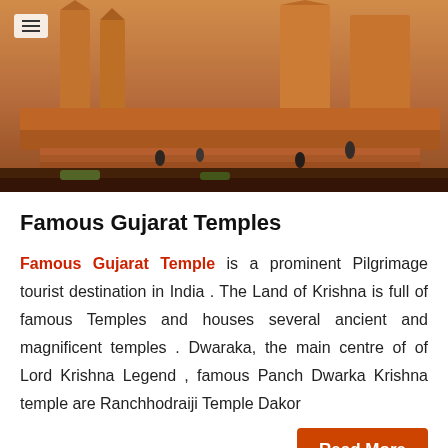[Figure (photo): Photograph of a famous Gujarat temple complex showing ancient stone architecture, steps, and visitors, with warm orange-brown tones]
Famous Gujarat Temples
Famous Gujarat Temple is a prominent Pilgrimage tourist destination in India . The Land of Krishna is full of famous Temples and houses several ancient and magnificent temples . Dwaraka, the main centre of of Lord Krishna Legend , famous Panch Dwarka Krishna temple are Ranchhodraiji Temple Dakor
Read More